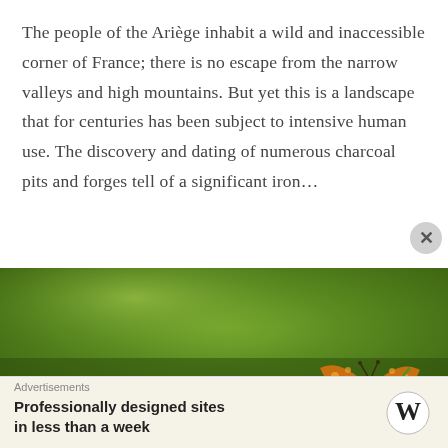The people of the Ariège inhabit a wild and inaccessible corner of France; there is no escape from the narrow valleys and high mountains. But yet this is a landscape that for centuries has been subject to intensive human use. The discovery and dating of numerous charcoal pits and forges tell of a significant iron...
READ MORE
[Figure (photo): Close-up photograph of an orange and brown butterfly on a green blurred background]
Advertisements
Professionally designed sites in less than a week